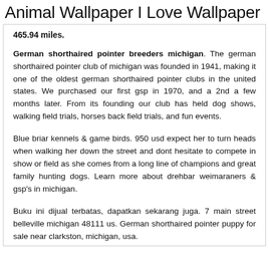Animal Wallpaper I Love Wallpaper
465.94 miles.
German shorthaired pointer breeders michigan. The german shorthaired pointer club of michigan was founded in 1941, making it one of the oldest german shorthaired pointer clubs in the united states. We purchased our first gsp in 1970, and a 2nd a few months later. From its founding our club has held dog shows, walking field trials, horses back field trials, and fun events.
Blue briar kennels & game birds. 950 usd expect her to turn heads when walking her down the street and dont hesitate to compete in show or field as she comes from a long line of champions and great family hunting dogs. Learn more about drehbar weimaraners & gsp's in michigan.
Buku ini dijual terbatas, dapatkan sekarang juga. 7 main street belleville michigan 48111 us. German shorthaired pointer puppy for sale near clarkston, michigan, usa.